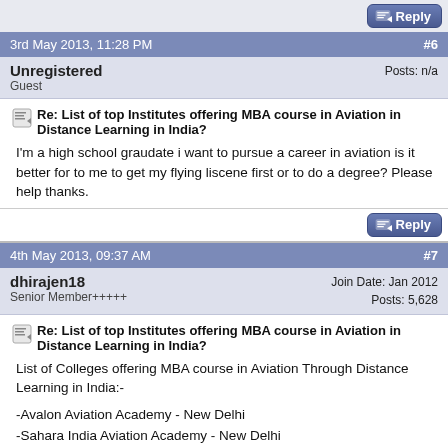[Figure (screenshot): Reply button at top right]
3rd May 2013, 11:28 PM   #6
Unregistered
Guest
Posts: n/a
Re: List of top Institutes offering MBA course in Aviation in Distance Learning in India?
I'm a high school graudate i want to pursue a career in aviation is it better for to me to get my flying liscene first or to do a degree? Please help thanks.
[Figure (screenshot): Reply button]
4th May 2013, 09:37 AM   #7
dhirajen18
Senior Member+++++
Join Date: Jan 2012
Posts: 5,628
Re: List of top Institutes offering MBA course in Aviation in Distance Learning in India?
List of Colleges offering MBA course in Aviation Through Distance Learning in India:-
-Avalon Aviation Academy - New Delhi
-Sahara India Aviation Academy - New Delhi
-Avalon Aviation Academy - Coimbatore
-Astro Professional Academy - Udaipur
-Frankfill Institute of Air Hostess Training - Mumbai